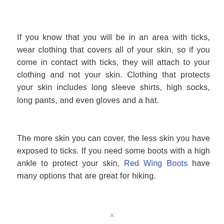If you know that you will be in an area with ticks, wear clothing that covers all of your skin, so if you come in contact with ticks, they will attach to your clothing and not your skin. Clothing that protects your skin includes long sleeve shirts, high socks, long pants, and even gloves and a hat.
The more skin you can cover, the less skin you have exposed to ticks. If you need some boots with a high ankle to protect your skin, Red Wing Boots have many options that are great for hiking.